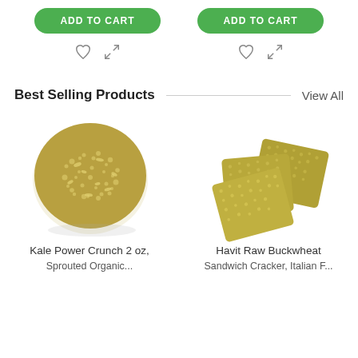[Figure (screenshot): Two green ADD TO CART buttons side by side at the top of the page]
[Figure (screenshot): Two pairs of icons: heart (wishlist) and expand/compare icons, one pair under each button]
Best Selling Products — View All
[Figure (photo): Round seeded cracker or snack ball, golden-green color, photographed on white background — Kale Power Crunch 2 oz product]
[Figure (photo): Three square flat crackers stacked/fanned, greenish-gold color, raw buckwheat crackers — Havit Raw Buckwheat product]
Kale Power Crunch 2 oz,
Havit Raw Buckwheat